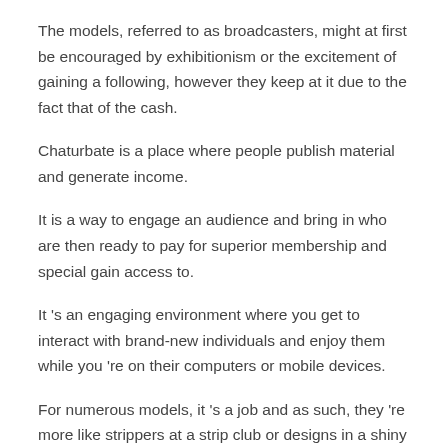The models, referred to as broadcasters, might at first be encouraged by exhibitionism or the excitement of gaining a following, however they keep at it due to the fact that of the cash.
Chaturbate is a place where people publish material and generate income.
It is a way to engage an audience and bring in who are then ready to pay for superior membership and special gain access to.
It 's an engaging environment where you get to interact with brand-new individuals and enjoy them while you 're on their computers or mobile devices.
For numerous models, it 's a job and as such, they 're more like strippers at a strip club or designs in a shiny publication who promote themselves in order to grow a fan base.